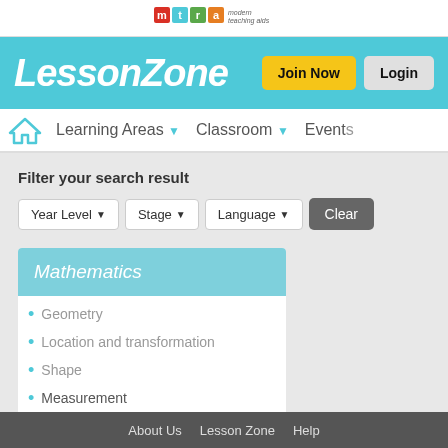[Figure (logo): MTA Modern Teaching Aids logo at top center]
[Figure (logo): LessonZone logo in white italic text on teal background with Join Now and Login buttons]
Learning Areas ▾  Classroom ▾  Events
Filter your search result
Year Level ▾  Stage ▾  Language ▾  Clear
Mathematics
Geometry
Location and transformation
Shape
Measurement
About Us  Lesson Zone  Help